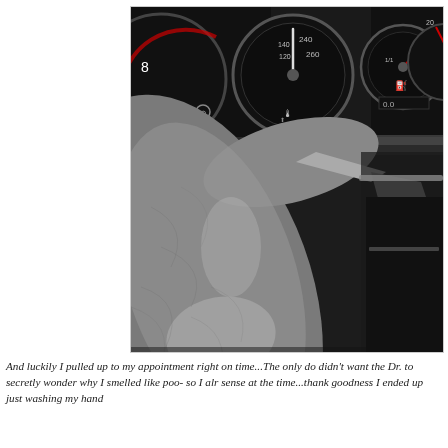[Figure (photo): Close-up photo taken inside a car showing the grey leather steering wheel in the foreground and the instrument cluster (speedometer, tachometer, fuel gauge) visible in the background on a dark dashboard.]
And luckily I pulled up to my appointment right on time...The only do didn't want the Dr. to secretly wonder why I smelled like poo- so I alr sense at the time...thank goodness I ended up just washing my hand